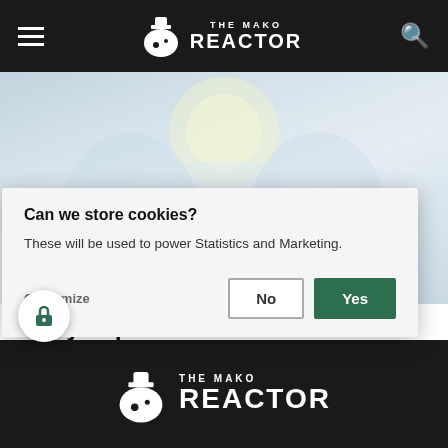THE MAKO REACTOR
[Figure (illustration): Blurred/faded anime-style character illustration used as article hero image with a 'News' badge overlay]
Every Japanese Game Release in August 2022
Can we store cookies?
These will be used to power Statistics and Marketing.
Customize   No   Yes
[Figure (logo): The Mako Reactor logo in white on dark background footer]